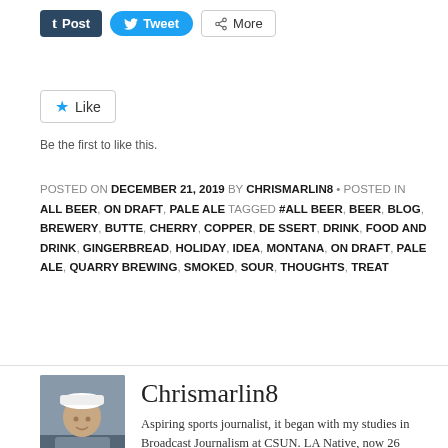[Figure (other): Social sharing buttons: Tumblr Post, Twitter Tweet, and More]
[Figure (other): Like button widget with star icon]
Be the first to like this.
POSTED ON DECEMBER 21, 2019 BY CHRISMARLIN8 • POSTED IN ALL BEER, ON DRAFT, PALE ALE TAGGED #ALL BEER, BEER, BLOG, BREWERY, BUTTE, CHERRY, COPPER, DESSERT, DRINK, FOOD AND DRINK, GINGERBREAD, HOLIDAY, IDEA, MONTANA, ON DRAFT, PALE ALE, QUARRY BREWING, SMOKED, SOUR, THOUGHTS, TREAT
[Figure (photo): Profile photo of Chrismarlin8, a young man wearing a white cap and grey jacket]
Chrismarlin8
Aspiring sports journalist, it began with my studies in Broadcast Journalism at CSUN. LA Native, now 26 years old. I'm absolutely crazy about sports, and would say it is definitely my passion. I played soccer all my life, and football at Hart High. I hope one day to continue my football dreams as a professional kicker, either CFL